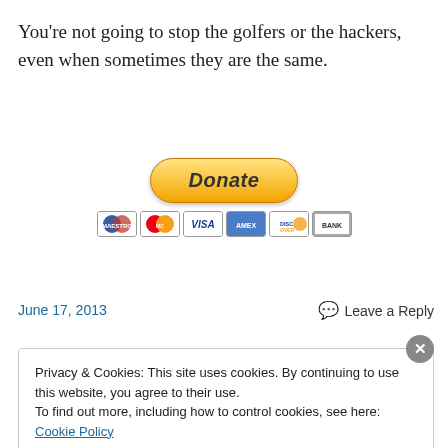You're not going to stop the golfers or the hackers, even when sometimes they are the same.
[Figure (other): PayPal Donate button with payment card icons (Maestro, MasterCard, Visa, American Express, Discover, Bank)]
June 17, 2013
Leave a Reply
Privacy & Cookies: This site uses cookies. By continuing to use this website, you agree to their use.
To find out more, including how to control cookies, see here: Cookie Policy
Close and accept